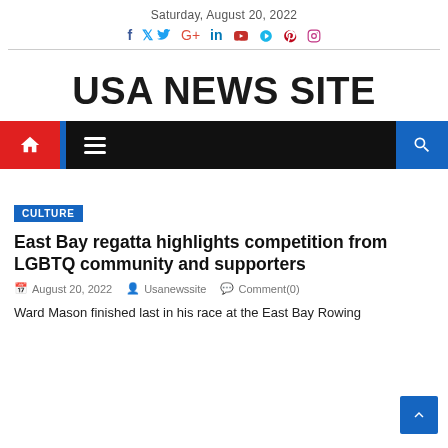Saturday, August 20, 2022
USA NEWS SITE
CULTURE
East Bay regatta highlights competition from LGBTQ community and supporters
August 20, 2022   Usanewssite   Comment(0)
Ward Mason finished last in his race at the East Bay Rowing Club's tournament. But as the team's Regatta Report declared to the